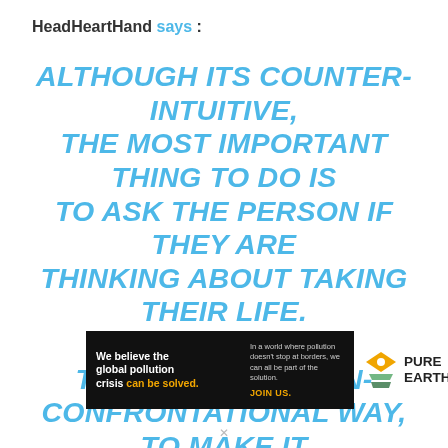HeadHeartHand says :
ALTHOUGH ITS COUNTER-INTUITIVE, THE MOST IMPORTANT THING TO DO IS TO ASK THE PERSON IF THEY ARE THINKING ABOUT TAKING THEIR LIFE. DO SO IN A NON-THREATENING, NON-CONFRONTATIONAL WAY, TO MAKE IT AS EASY AS POSSIBLE TO SPEAK OPENLY ABOUT THEIR THOUGHTS AND FEELINGS.
[Figure (infographic): Pure Earth advertisement banner: black background with text 'We believe the global pollution crisis can be solved.' in white and yellow, with secondary text about a world where pollution doesn't stop at borders, JOIN US in yellow, and Pure Earth logo with diamond/leaf icon in orange/green.]